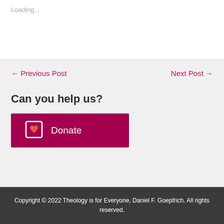Loading...
← Previous Post
Next Post →
Can you help us?
[Figure (other): Donate button with heart-in-bracket icon on dark pink/maroon background]
Copyright © 2022 Theology is for Everyone, Daniel F. Goepfrich. All rights reserved.